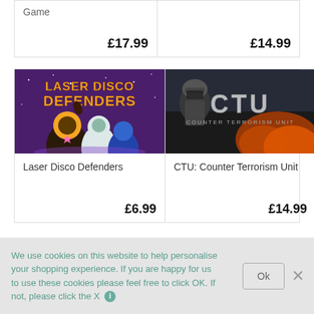| Game |  |
| --- | --- |
| Game |  |
| £17.99 | £14.99 |
[Figure (screenshot): Laser Disco Defenders game cover art with colorful characters on purple space background]
[Figure (screenshot): CTU: Counter Terrorism Unit game cover art with soldier and fire]
Laser Disco Defenders
£6.99
CTU: Counter Terrorism Unit
£14.99
We use cookies on this website to help personalise your shopping experience. If you are happy for us to use these cookies please feel free to click OK. If not, please click the X